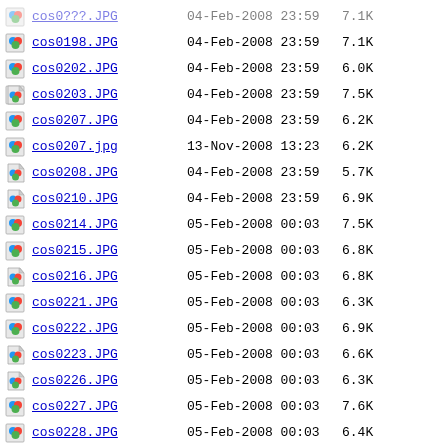cos0198.JPG  04-Feb-2008 23:59  7.1K
cos0202.JPG  04-Feb-2008 23:59  6.0K
cos0203.JPG  04-Feb-2008 23:59  7.5K
cos0207.JPG  04-Feb-2008 23:59  6.2K
cos0207.jpg  13-Nov-2008 13:23  6.2K
cos0208.JPG  04-Feb-2008 23:59  5.7K
cos0210.JPG  04-Feb-2008 23:59  6.9K
cos0214.JPG  05-Feb-2008 00:03  7.5K
cos0215.JPG  05-Feb-2008 00:03  6.8K
cos0216.JPG  05-Feb-2008 00:03  6.8K
cos0221.JPG  05-Feb-2008 00:03  6.3K
cos0222.JPG  05-Feb-2008 00:03  6.9K
cos0223.JPG  05-Feb-2008 00:03  6.6K
cos0226.JPG  05-Feb-2008 00:03  6.3K
cos0227.JPG  05-Feb-2008 00:03  7.6K
cos0228.JPG  05-Feb-2008 00:03  6.4K
cos0229.JPG  05-Feb-2008 00:03  6.8K